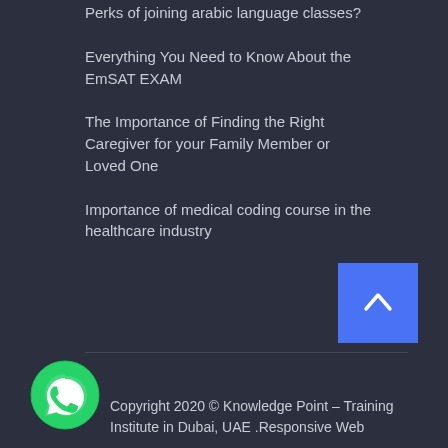Perks of joining arabic language classes?
Everything You Need to Know About the EmSAT EXAM
The Importance of Finding the Right Caregiver for your Family Member or Loved One
Importance of medical coding course in the healthcare industry
[Figure (illustration): Blue scroll-to-top button with upward chevron arrow]
[Figure (logo): WhatsApp green circular logo with phone handset icon]
Copyright 2020 © Knowledge Point – Training Institute in Dubai, UAE .Responsive Web